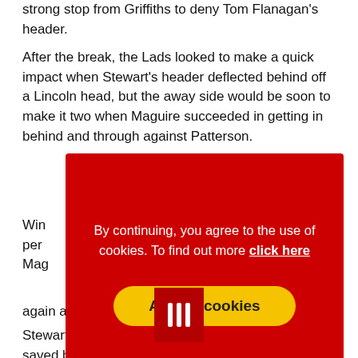strong stop from Griffiths to deny Tom Flanagan's header.
After the break, the Lads looked to make a quick impact when Stewart's header deflected behind off a Lincoln head, but the away side would be soon to make it two when Maguire succeeded in getting in behind and through against Patterson.
Win [partially obscured by overlay] per [partially obscured] Mag [partially obscured]
[Figure (screenshot): Red cookie consent overlay with text 'By continuing, you agree to the use of cookies. To find out more click here' and a yellow 'Accept cookies' button]
The [partially obscured] side [partially obscured] x Prit [partially obscured] again awarding the penalty.
Stewart's initial effort to Gr[obscured]left was initially saved by